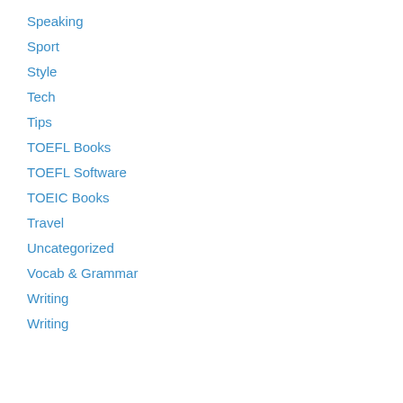Speaking
Sport
Style
Tech
Tips
TOEFL Books
TOEFL Software
TOEIC Books
Travel
Uncategorized
Vocab & Grammar
Writing
Writing